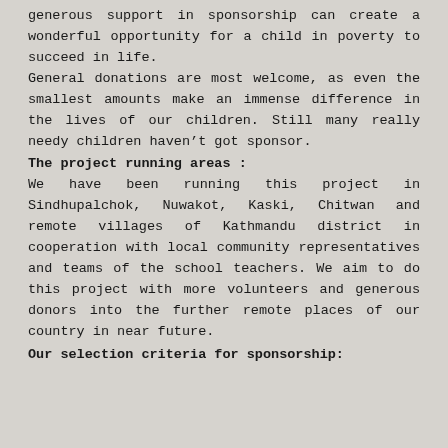generous support in sponsorship can create a wonderful opportunity for a child in poverty to succeed in life.
General donations are most welcome, as even the smallest amounts make an immense difference in the lives of our children. Still many really needy children haven't got sponsor.
The project running areas :
We have been running this project in Sindhupalchok, Nuwakot, Kaski, Chitwan and remote villages of Kathmandu district in cooperation with local community representatives and teams of the school teachers. We aim to do this project with more volunteers and generous donors into the further remote places of our country in near future.
Our selection criteria for sponsorship: